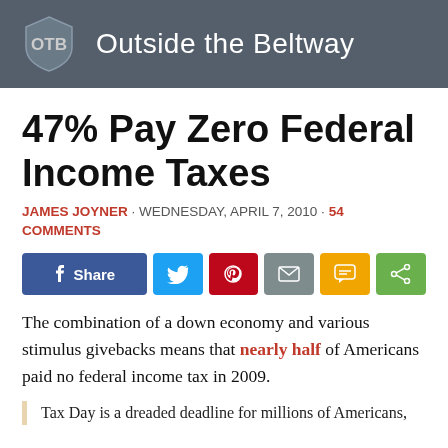Outside the Beltway
47% Pay Zero Federal Income Taxes
JAMES JOYNER · WEDNESDAY, APRIL 7, 2010 · 54 COMMENTS
[Figure (infographic): Social media share buttons: Facebook Share, Twitter, Pinterest, Email, SMS, Share]
The combination of a down economy and various stimulus givebacks means that nearly half of Americans paid no federal income tax in 2009.
Tax Day is a dreaded deadline for millions of Americans,